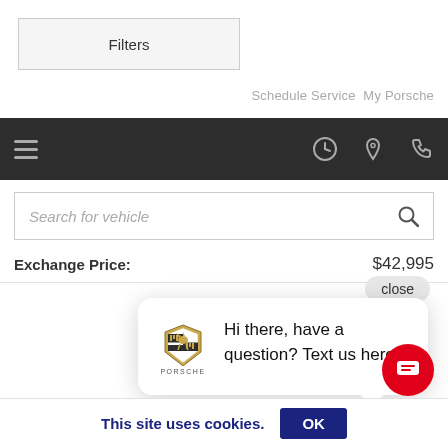Filters
Schedule Service  My Porsche
[Figure (screenshot): Dark navigation bar with hamburger menu on left and clock, location, phone icons on right]
Search for vehicle
Exchange Price:  $42,995
close
[Figure (screenshot): Porsche chat popup with text: Hi there, have a question? Text us here.]
Finance $610/mo
This site uses cookies.
OK